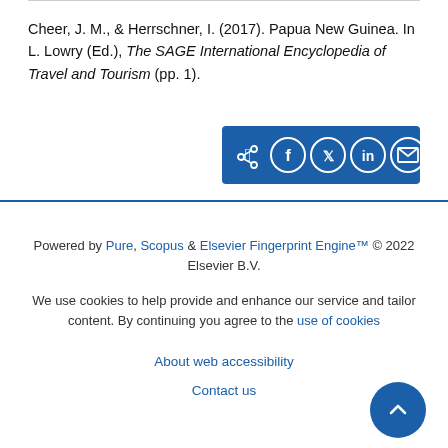Cheer, J. M., & Herrschner, I. (2017). Papua New Guinea. In L. Lowry (Ed.), The SAGE International Encyclopedia of Travel and Tourism (pp. 1).
[Figure (other): Social share bar with icons for share, Facebook, Twitter, LinkedIn, and email on a dark blue background]
Powered by Pure, Scopus & Elsevier Fingerprint Engine™ © 2022 Elsevier B.V.

We use cookies to help provide and enhance our service and tailor content. By continuing you agree to the use of cookies

About web accessibility

Contact us